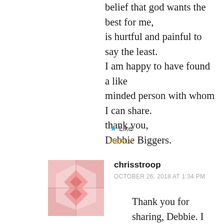belief that god wants the best for me, is hurtful and painful to say the least. I am happy to have found a like minded person with whom I can share. thank you, Debbie Biggers.
Like
REPLY
[Figure (illustration): Square avatar image with pink geometric/quilt pattern design]
chrisstroop
OCTOBER 26, 2018 AT 1:34 PM
Thank you for sharing, Debbie. I know these are hard things to go through.